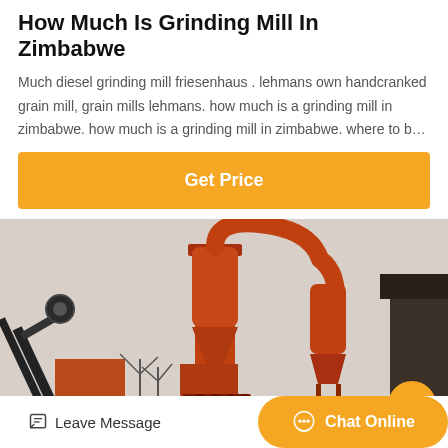How Much Is Grinding Mill In Zimbabwe
Much diesel grinding mill friesenhaus . lehmans own handcranked grain mill, grain mills lehmans. how much is a grinding mill in zimbabwe. how much is a grinding mill in zimbabwe. where to b…
Get Price
[Figure (photo): Industrial grinding mill machinery with orange cyclone separator and conveyor equipment outdoors]
Leave Message
Chat Online